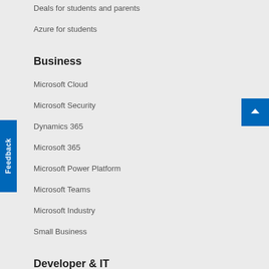Deals for students and parents
Azure for students
Business
Microsoft Cloud
Microsoft Security
Dynamics 365
Microsoft 365
Microsoft Power Platform
Microsoft Teams
Microsoft Industry
Small Business
Developer & IT
Azure